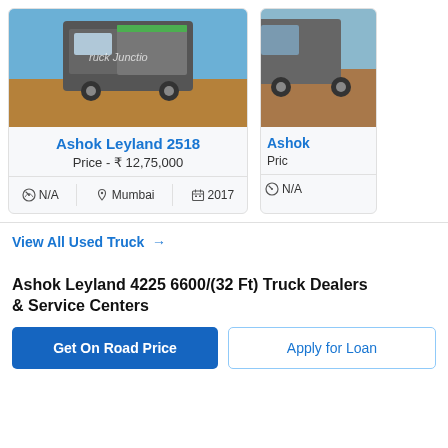[Figure (photo): Ashok Leyland 2518 truck photo from Truck Junction]
Ashok Leyland 2518
Price - ₹ 12,75,000
N/A   Mumbai   2017
[Figure (photo): Ashok (partial truck listing photo, cropped)]
Ashok (partial title, cropped)
Pric (partial price, cropped)
N/A (partial meta, cropped)
View All Used Truck →
Ashok Leyland 4225 6600/(32 Ft) Truck Dealers & Service Centers
Get On Road Price
Apply for Loan